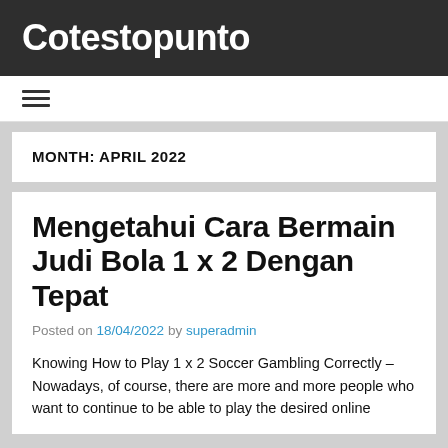Cotestopunto
≡
MONTH: APRIL 2022
Mengetahui Cara Bermain Judi Bola 1 x 2 Dengan Tepat
Posted on 18/04/2022 by superadmin
Knowing How to Play 1 x 2 Soccer Gambling Correctly – Nowadays, of course, there are more and more people who want to continue to be able to play the desired online